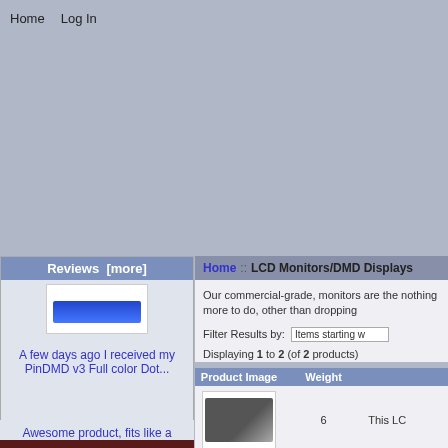Home   Log In
[Figure (other): Large grey banner/advertisement area]
Home :: LCD Monitors/DMD Displays
Reviews  [more]
[Figure (photo): Review product image showing a blue LED display bar]
A few days ago I received my PinDMD v3 Full color Dot...
Our commercial-grade, monitors are the nothing more to do, other than dropping
Filter Results by:   Items starting w
Displaying 1 to 2 (of 2 products)
| Product Image | Weight |  |
| --- | --- | --- |
| [LCD image] | 6 | This LC |
| [PinDMD image] | 4 | PinDM |
Awesome product, fits like a glove and looks like the real...